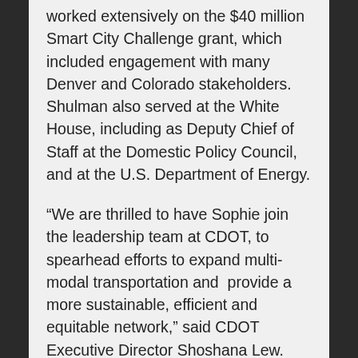worked extensively on the $40 million Smart City Challenge grant, which included engagement with many Denver and Colorado stakeholders. Shulman also served at the White House, including as Deputy Chief of Staff at the Domestic Policy Council, and at the U.S. Department of Energy.
“We are thrilled to have Sophie join the leadership team at CDOT, to spearhead efforts to expand multi-modal transportation and  provide a more sustainable, efficient and equitable network,” said CDOT Executive Director Shoshana Lew. “These issues are critical to improving travel options and quality of life for Colorodans, by reducing both congestion on the roads and congestion in the air.”
CDOT has approximately 3,000 employees throughout